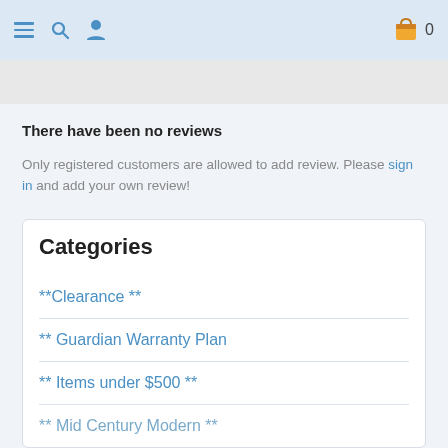Navigation bar with hamburger menu, search, user icon, and shopping cart (0 items)
There have been no reviews
Only registered customers are allowed to add review. Please sign in and add your own review!
Categories
**Clearance **
** Guardian Warranty Plan
** Items under $500 **
** Mid Century Modern **